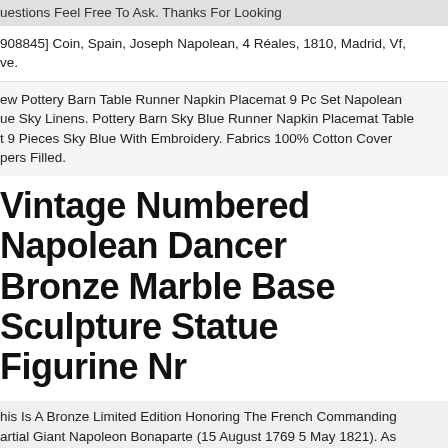uestions Feel Free To Ask. Thanks For Looking
908845] Coin, Spain, Joseph Napolean, 4 Réales, 1810, Madrid, Vf, ve.
ew Pottery Barn Table Runner Napkin Placemat 9 Pc Set Napolean ue Sky Linens. Pottery Barn Sky Blue Runner Napkin Placemat Table t 9 Pieces Sky Blue With Embroidery. Fabrics 100% Cotton Cover pers Filled.
Vintage Numbered Napolean Dancer Bronze Marble Base Sculpture Statue Figurine Nr
his Is A Bronze Limited Edition Honoring The French Commanding artial Giant Napoleon Bonaparte (15 August 1769 5 May 1821). As Napoleon I, He Was Emperor Of The French From 1804 To 1815. The eholder Witnesses Him Standing Straight Ahead With Proudness, Hi nning Fortune After All, Finally Defeated At The Battle Of Waterloo